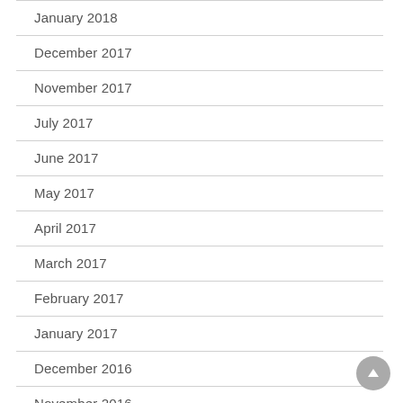January 2018
December 2017
November 2017
July 2017
June 2017
May 2017
April 2017
March 2017
February 2017
January 2017
December 2016
November 2016